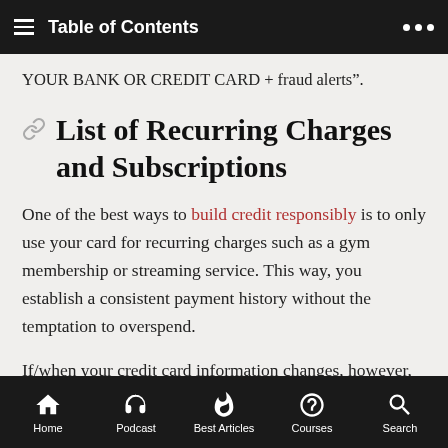Table of Contents
YOUR BANK OR CREDIT CARD + fraud alerts".
List of Recurring Charges and Subscriptions
One of the best ways to build credit responsibly is to only use your card for recurring charges such as a gym membership or streaming service. This way, you establish a consistent payment history without the temptation to overspend.
If/when your credit card information changes, however, it can be a pain to update all your various
Home  Podcast  Best Articles  Courses  Search